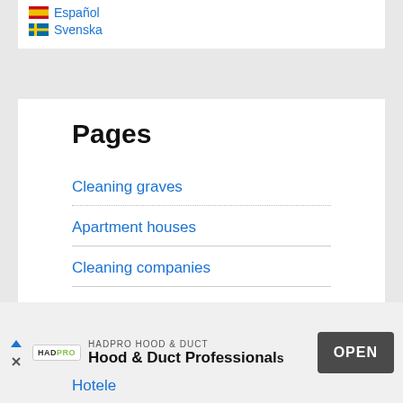Español
Svenska
Pages
Cleaning graves
Apartment houses
Cleaning companies
Veterinary offices
HADPRO HOOD & DUCT
Hood & Duct Professionals
OPEN
Hotele